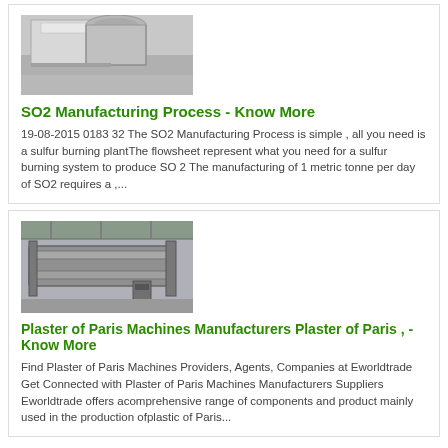[Figure (photo): Industrial equipment - sheet metal ductwork or ventilation components in a facility]
SO2 Manufacturing Process - Know More
19-08-2015 0183 32 The SO2 Manufacturing Process is simple , all you need is a sulfur burning plantThe flowsheet represent what you need for a sulfur burning system to produce SO 2 The manufacturing of 1 metric tonne per day of SO2 requires a ,...
[Figure (photo): Industrial machinery - large rolling or calendering machine in a factory/warehouse setting]
Plaster of Paris Machines Manufacturers Plaster of Paris , - Know More
Find Plaster of Paris Machines Providers, Agents, Companies at Eworldtrade Get Connected with Plaster of Paris Machines Manufacturers Suppliers Eworldtrade offers acomprehensive range of components and product mainly used in the production ofplastic of Paris...